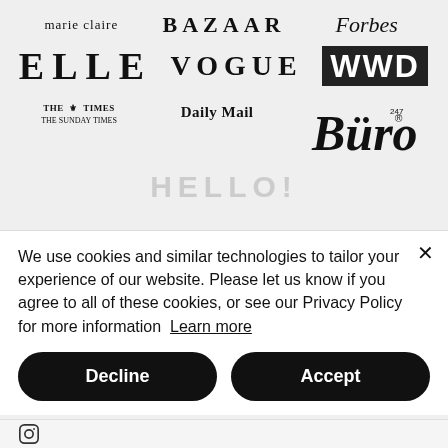[Figure (logo): Row of publication logos: marie claire, BAZAAR, Forbes]
[Figure (logo): Row of publication logos: ELLE, VOGUE, WWD]
[Figure (logo): Row of publication logos: THE TIMES / THE SUNDAY TIMES, Daily Mail, Büro247]
[Figure (logo): HELLO! logo in light gray]
We use cookies and similar technologies to tailor your experience of our website. Please let us know if you agree to all of these cookies, or see our Privacy Policy for more information Learn more
Decline
Accept